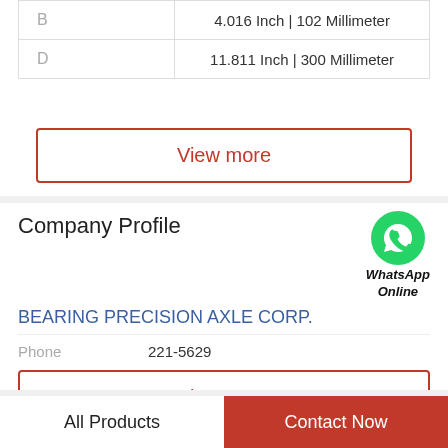|  |  |
| --- | --- |
| B | 4.016 Inch | 102 Millimeter |
| D | 11.811 Inch | 300 Millimeter |
View more
Company Profile
[Figure (logo): WhatsApp green phone icon with label 'WhatsApp Online']
BEARING PRECISION AXLE CORP.
Phone   221-5629
View more
All Products
Contact Now